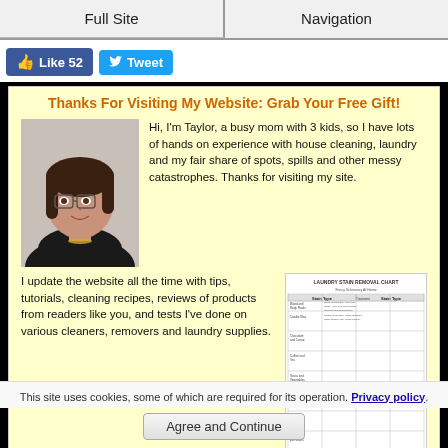Full Site | Navigation
[Figure (screenshot): Facebook Like button showing 52 likes and Twitter Tweet button]
Thanks For Visiting My Website: Grab Your Free Gift!
[Figure (photo): Photo of Taylor, a woman with dark hair and glasses, smiling]
Hi, I'm Taylor, a busy mom with 3 kids, so I have lots of hands on experience with house cleaning, laundry and my fair share of spots, spills and other messy catastrophes. Thanks for visiting my site.
I update the website all the time with tips, tutorials, cleaning recipes, reviews of products from readers like you, and tests I've done on various cleaners, removers and laundry supplies.
[Figure (table-as-image): Laundry Stain Removal Chart thumbnail image]
This site uses cookies, some of which are required for its operation. Privacy policy.
Agree and Continue